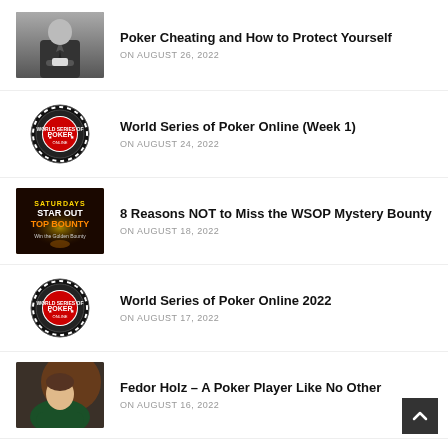Poker Cheating and How to Protect Yourself
ON AUGUST 26, 2022
World Series of Poker Online (Week 1)
ON AUGUST 24, 2022
8 Reasons NOT to Miss the WSOP Mystery Bounty
ON AUGUST 18, 2022
World Series of Poker Online 2022
ON AUGUST 17, 2022
Fedor Holz – A Poker Player Like No Other
ON AUGUST 16, 2022